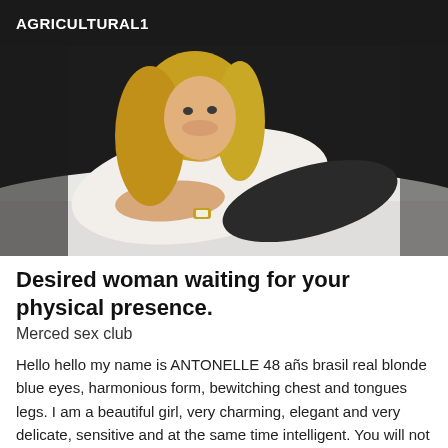AGRICULTURAL1
[Figure (photo): A blonde woman lying on a bed, wearing a white shirt and black skirt, smiling at the camera. She has long blonde hair and is wearing a gold watch.]
Desired woman waiting for your physical presence.
Merced sex club
Hello hello my name is ANTONELLE 48 añs brasil real blonde blue eyes, harmonious form, bewitching chest and tongues legs. I am a beautiful girl, very charming, elegant and very delicate, sensitive and at the same time intelligent. You will not fail to find me also well educated, with a great sense of humor... My massage